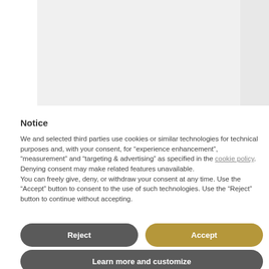[Figure (other): Gray placeholder image area at top of cookie consent dialog]
Notice
We and selected third parties use cookies or similar technologies for technical purposes and, with your consent, for “experience enhancement”, “measurement” and “targeting & advertising” as specified in the cookie policy. Denying consent may make related features unavailable.
You can freely give, deny, or withdraw your consent at any time. Use the “Accept” button to consent to the use of such technologies. Use the “Reject” button to continue without accepting.
Reject
Accept
Learn more and customize